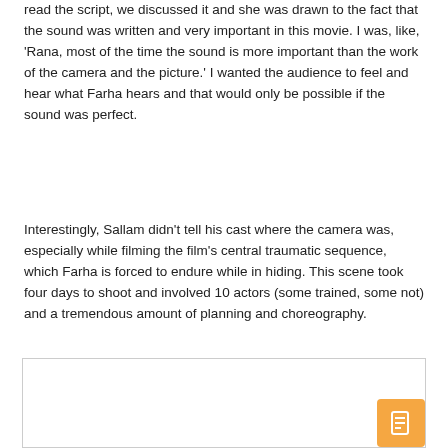read the script, we discussed it and she was drawn to the fact that the sound was written and very important in this movie. I was, like, 'Rana, most of the time the sound is more important than the work of the camera and the picture.' I wanted the audience to feel and hear what Farha hears and that would only be possible if the sound was perfect.
Interestingly, Sallam didn't tell his cast where the camera was, especially while filming the film's central traumatic sequence, which Farha is forced to endure while in hiding. This scene took four days to shoot and involved 10 actors (some trained, some not) and a tremendous amount of planning and choreography.
[Figure (photo): A large white/blank rectangular image box with a thin border, partially visible at the bottom of the page. An orange button with a document icon is visible in the lower right corner.]